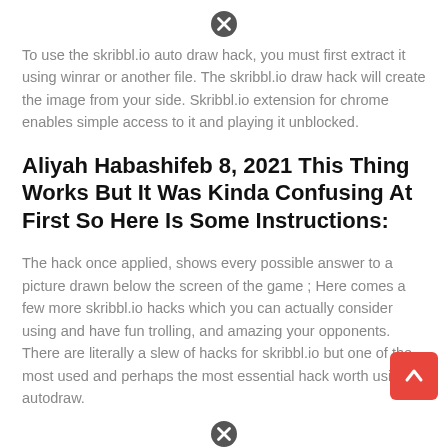[Figure (other): Close/X button circle icon at the top center of the page]
To use the skribbl.io auto draw hack, you must first extract it using winrar or another file. The skribbl.io draw hack will create the image from your side. Skribbl.io extension for chrome enables simple access to it and playing it unblocked.
Aliyah Habashifeb 8, 2021 This Thing Works But It Was Kinda Confusing At First So Here Is Some Instructions:
The hack once applied, shows every possible answer to a picture drawn below the screen of the game ; Here comes a few more skribbl.io hacks which you can actually consider using and have fun trolling, and amazing your opponents. There are literally a slew of hacks for skribbl.io but one of the most used and perhaps the most essential hack worth using is autodraw.
[Figure (other): Close/X button circle icon at the bottom center of the page]
[Figure (other): Scroll to top button — red/orange square with upward arrow, positioned at bottom right]